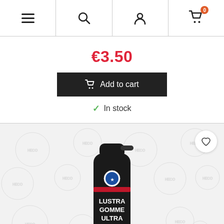Navigation bar with menu, search, account, and cart (0 items)
€3.50
Add to cart
In stock
[Figure (photo): Black aerosol spray can labeled LUSTRA GOMME ULTRA with red stripe and brand logo, shown on a light grey background with circular watermarks]